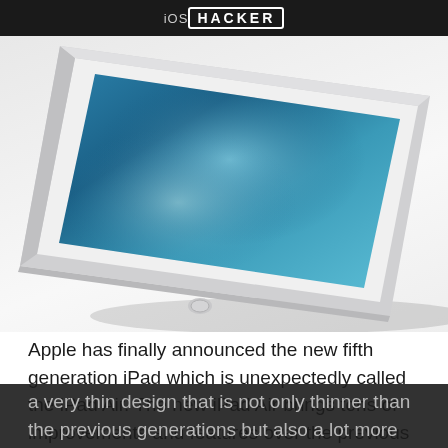iOSHACKER
[Figure (photo): iPad Air product photo showing the device at an angle with a blue space-themed wallpaper on its screen, white silver frame, on a white background]
Apple has finally announced the new fifth generation iPad which is unexpectedly called the iPad Air. The new iPad Air brings tons of improvements and features over the previous model making the iPad lineup even stronger. The new device features a design that  is as expected is heavily influenced by the iPad mini. The new iPad Air as its name suggests features a very thin design that is not only thinner than the previous generations but also a lot more